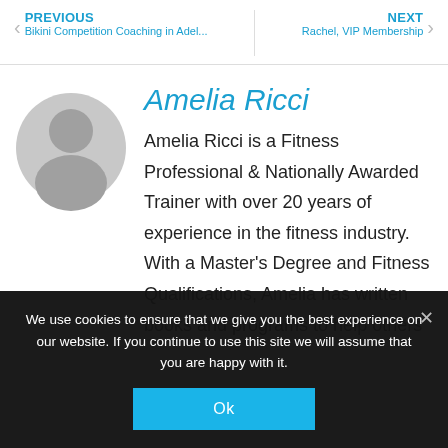PREVIOUS | Bikini Competition Coaching in Adel... | NEXT | Rachel, VIP Membership
[Figure (illustration): Circular grey avatar placeholder icon with person silhouette]
Amelia Ricci
Amelia Ricci is a Fitness Professional & Nationally Awarded Trainer with over 20 years of experience in the fitness industry. With a Master's Degree and Fitness Qualifications, Amelia has written books and programs to help others
We use cookies to ensure that we give you the best experience on our website. If you continue to use this site we will assume that you are happy with it.